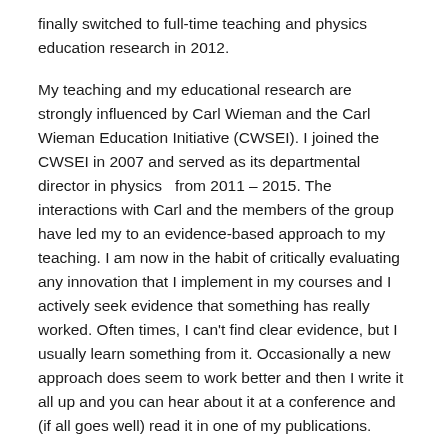finally switched to full-time teaching and physics education research in 2012.
My teaching and my educational research are strongly influenced by Carl Wieman and the Carl Wieman Education Initiative (CWSEI). I joined the CWSEI in 2007 and served as its departmental director in physics  from 2011 – 2015. The interactions with Carl and the members of the group have led my to an evidence-based approach to my teaching. I am now in the habit of critically evaluating any innovation that I implement in my courses and I actively seek evidence that something has really worked. Often times, I can't find clear evidence, but I usually learn something from it. Occasionally a new approach does seem to work better and then I write it all up and you can hear about it at a conference and (if all goes well) read it in one of my publications.
In my teaching, I am particularly interested in active learning methods to engage all students in such large classes. I use a